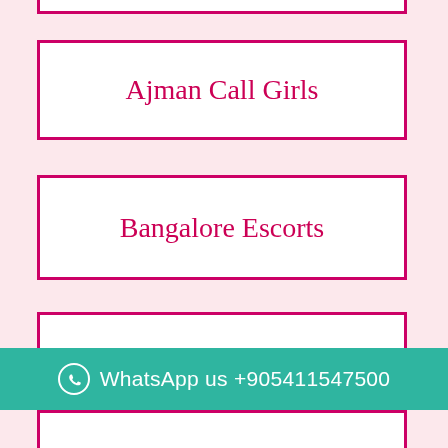Ajman Call Girls
Bangalore Escorts
Doha Qatar Escort
Malaysia Escort
WhatsApp us +905411547500